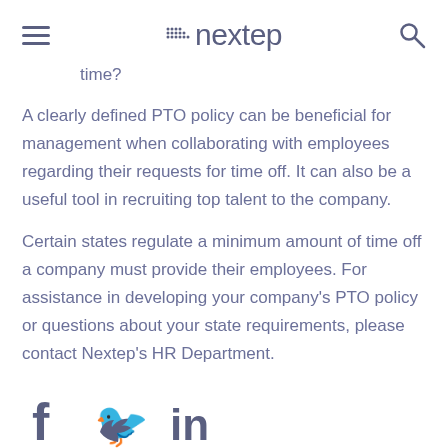nextep
time?
A clearly defined PTO policy can be beneficial for management when collaborating with employees regarding their requests for time off. It can also be a useful tool in recruiting top talent to the company.
Certain states regulate a minimum amount of time off a company must provide their employees. For assistance in developing your company's PTO policy or questions about your state requirements, please contact Nextep's HR Department.
[Figure (illustration): Social media icons: Facebook (f), Twitter (bird), LinkedIn (in)]
Also on Nextep